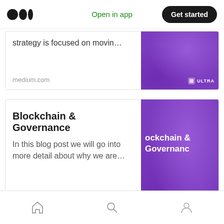Medium logo | Open in app | Get started
strategy is focused on movin…
medium.com
[Figure (screenshot): Purple Ultra brand image for first card]
Blockchain & Governance
In this blog post we will go into more detail about why we are…
medium.com
[Figure (screenshot): Purple Ultra brand image with text 'ockchain & Governance' for second card]
7) The Ultra Games Platform
Home | Search | Profile navigation icons